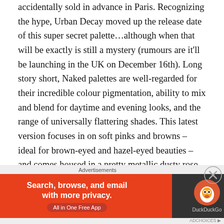accidentally sold in advance in Paris. Recognizing the hype, Urban Decay moved up the release date of this super secret palette…although when that will be exactly is still a mystery (rumours are it'll be launching in the UK on December 16th). Long story short, Naked palettes are well-regarded for their incredible colour pigmentation, ability to mix and blend for daytime and evening looks, and the range of universally flattering shades. This latest version focuses in on soft pinks and browns – ideal for brown-eyed and hazel-eyed beauties – and comes housed in a pretty metallic dusty rose tin. If you are a makeup maven, add it to your wish list and hope someone will elbow their way through the crowds (virtual or real) to snag you one once they're available for real
Advertisements
[Figure (other): DuckDuckGo advertisement banner: orange background with text 'Search, browse, and email with more privacy.' and 'All in One Free App' button on the left; dark panel with DuckDuckGo logo and duck icon on the right.]